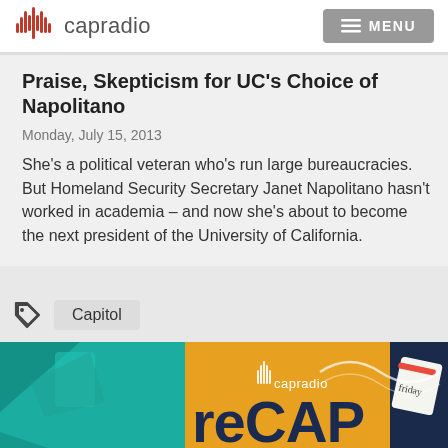capradio  MENU
Praise, Skepticism for UC's Choice of Napolitano
Monday, July 15, 2013
She's a political veteran who's run large bureaucracies. But Homeland Security Secretary Janet Napolitano hasn't worked in academia – and now she's about to become the next president of the University of California.
Capitol
[Figure (illustration): CapRadio reCAP banner/advertisement with teal, orange and dark blue geometric design and capradio logo and 'reCAP' text and a 'friday' notepad graphic]